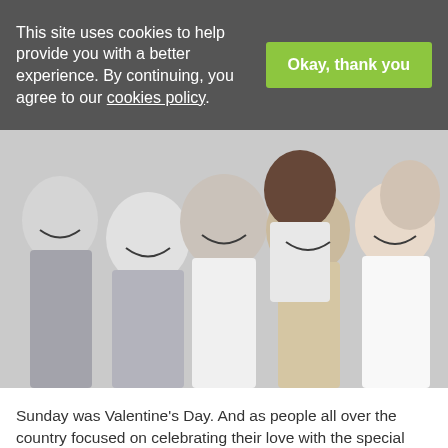This site uses cookies to help provide you with a better experience. By continuing, you agree to our cookies policy.
Okay, thank you
[Figure (photo): Group of diverse happy people laughing and celebrating together, arms around each other, smiling broadly]
Sunday was Valentine’s Day. And as people all over the country focused on celebrating their love with the special people in their lives, it got me thinking about how employers can get their staff to fall in love with their jobs.
I’m not talking about romantic love here, but ways that